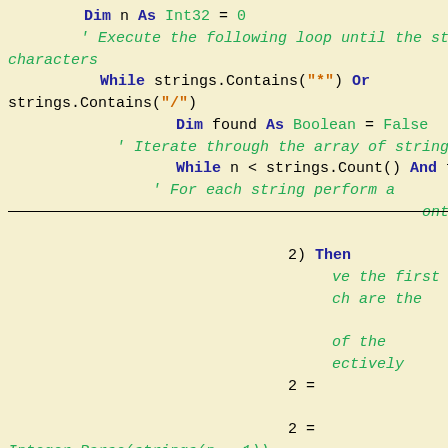[Figure (screenshot): VB.NET code snippet showing a loop that removes '*' and '/' characters from strings, partially obscured by a cookie consent dialog. The visible code includes Dim, While, Boolean declarations and comments.]
Like every other website we use cookies. By using our site you acknowledge that you have read and understand our Cookie Policy, Privacy Policy, and our Terms of Service.
Learn more
[Buttons: Ask me later | Decline | Allow cookies]